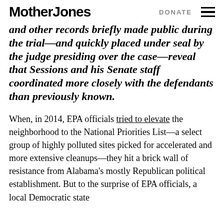Mother Jones   DONATE
and other records briefly made public during the trial—and quickly placed under seal by the judge presiding over the case—reveal that Sessions and his Senate staff coordinated more closely with the defendants than previously known.
When, in 2014, EPA officials tried to elevate the neighborhood to the National Priorities List—a select group of highly polluted sites picked for accelerated and more extensive cleanups—they hit a brick wall of resistance from Alabama's mostly Republican political establishment. But to the surprise of EPA officials, a local Democratic state